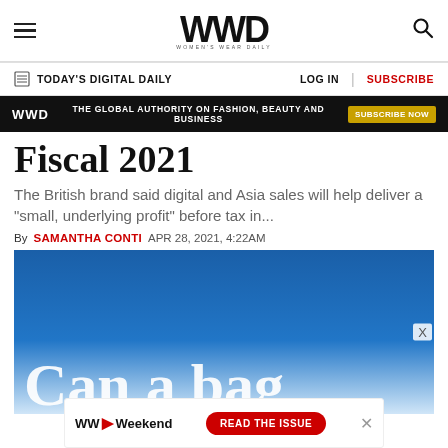WWD — Women's Wear Daily
TODAY'S DIGITAL DAILY | LOG IN | SUBSCRIBE
[Figure (infographic): WWD black ad banner: THE GLOBAL AUTHORITY ON FASHION, BEAUTY AND BUSINESS — SUBSCRIBE NOW button]
Fiscal 2021
The British brand said digital and Asia sales will help deliver a "small, underlying profit" before tax in...
By SAMANTHA CONTI   APR 28, 2021, 4:22AM
[Figure (photo): Blue gradient image with large white text reading 'Can a bag' at bottom]
[Figure (infographic): Bottom ad: WWD Weekend — READ THE ISSUE button]